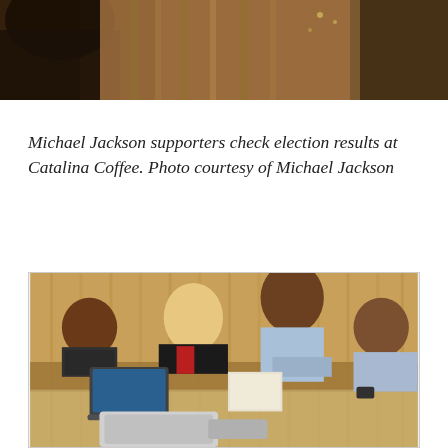[Figure (photo): Top portion of a photo showing people at what appears to be a coffee shop or event venue, cropped at top of page]
Michael Jackson supporters check election results at Catalina Coffee. Photo courtesy of Michael Jackson
[Figure (photo): People seated and standing around a table in a wood-paneled room, apparently checking election results. Multiple individuals visible including two women seated on left and two men on right side.]